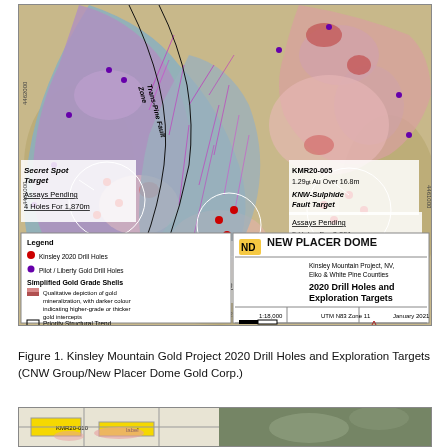[Figure (map): Kinsley Mountain Gold Project 2020 Drill Holes and Exploration Targets map. Shows geological map with gold grade shells (pink/red shading), drill hole locations (red and purple dots), structural trends (dashed lines), Trans-Pine Fault Zone, and three exploration target zones: Secret Spot Target (Assays Pending 4 Holes For 1,870m), Shale Saddle Target (Assays Pending 9 Holes For 4,509m), KNW-Sulphide Fault Target (Assays Pending 5 Holes For 2,291). Includes KMR20-005 result 1.29 gt Au Over 16.8m. Legend and New Placer Dome logo in lower portion. Scale 1:18,000 UTM N83 Zone 11 January 2021. Apex Geoscience Ltd.]
Figure 1. Kinsley Mountain Gold Project 2020 Drill Holes and Exploration Targets (CNW Group/New Placer Dome Gold Corp.)
[Figure (other): Partial view of a second figure at the bottom of the page, showing cross-section or plan view diagrams related to the Kinsley Mountain project, partially cut off.]